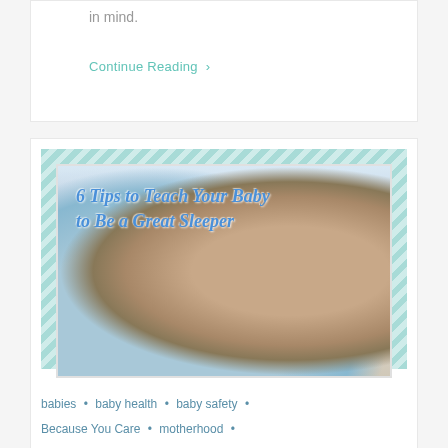in mind.
Continue Reading ›
[Figure (photo): A sleeping newborn baby wrapped in a light blue blanket on white bedding, with text overlay reading '6 Tips to Teach Your Baby to Be a Great Sleeper'. The image has a teal chevron/diamond patterned border.]
babies • baby health • baby safety •
Because You Care • motherhood •